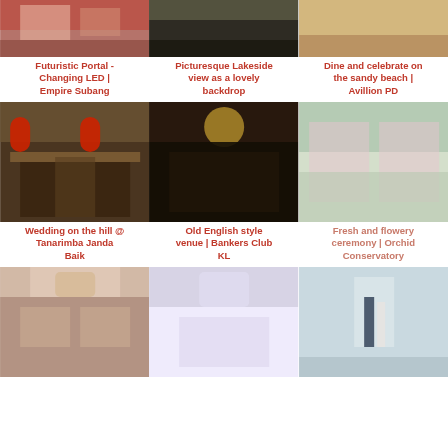[Figure (photo): Wedding venue top crop – Futuristic Portal with changing LED lights, Empire Subang]
[Figure (photo): Picturesque lakeside view as backdrop – partial top crop]
[Figure (photo): Sandy beach dining and celebration – partial top crop, Avillion PD]
Futuristic Portal - Changing LED | Empire Subang
Picturesque Lakeside view as a lovely backdrop
Dine and celebrate on the sandy beach | Avillion PD
[Figure (photo): Wedding on the hill at Tanarimba Janda Baik – open hall with red lanterns]
[Figure (photo): Old English style venue – Bankers Club KL, grand hall with chandelier and guests]
[Figure (photo): Fresh and flowery ceremony at Orchid Conservatory – greenhouse with flowers and guests]
Wedding on the hill @ Tanarimba Janda Baik
Old English style venue | Bankers Club KL
Fresh and flowery ceremony | Orchid Conservatory
[Figure (photo): Elegant tent reception with white draping and round tables]
[Figure (photo): Luxurious white wedding hall with chandelier and draped ceiling]
[Figure (photo): Couple at Orchid Conservatory with white aisle and candles]